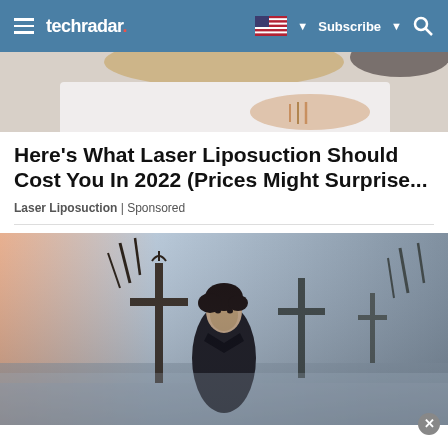techradar. Subscribe
[Figure (photo): Top cropped image showing a person lying down, wearing a white knit sweater with bracelets on their wrist]
Here's What Laser Liposuction Should Cost You In 2022 (Prices Might Surprise...
Laser Liposuction | Sponsored
[Figure (photo): A young man in black clothing standing in a dark misty graveyard scene with crosses, atmospheric fantasy style image]